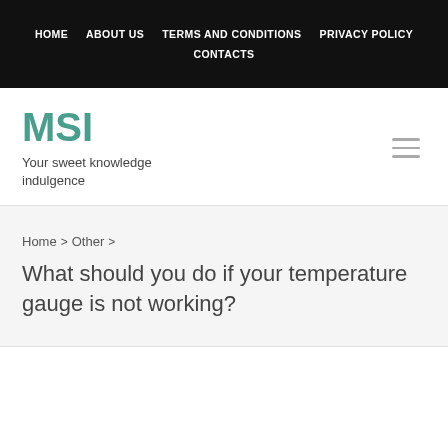HOME  ABOUT US  TERMS AND CONDITIONS  PRIVACY POLICY  CONTACTS
MSI
Your sweet knowledge indulgence
Home > Other >
What should you do if your temperature gauge is not working?